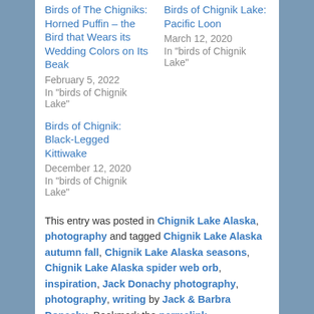Birds of The Chigniks: Horned Puffin – the Bird that Wears its Wedding Colors on Its Beak
February 5, 2022
In "birds of Chignik Lake"
Birds of Chignik Lake: Pacific Loon
March 12, 2020
In "birds of Chignik Lake"
Birds of Chignik: Black-Legged Kittiwake
December 12, 2020
In "birds of Chignik Lake"
This entry was posted in Chignik Lake Alaska, photography and tagged Chignik Lake Alaska autumn fall, Chignik Lake Alaska seasons, Chignik Lake Alaska spider web orb, inspiration, Jack Donachy photography, photography, writing by Jack & Barbra Donachy. Bookmark the permalink.
4 THOUGHTS ON "CHIGNIK LAKE IN 29 PHOTOS: ORBS"